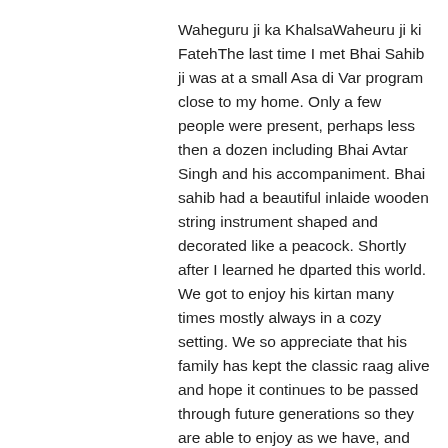Waheguru ji ka KhalsaWaheuru ji ki FatehThe last time I met Bhai Sahib ji was at a small Asa di Var program close to my home. Only a few people were present, perhaps less then a dozen including Bhai Avtar Singh and his accompaniment. Bhai sahib had a beautiful inlaide wooden string instrument shaped and decorated like a peacock. Shortly after I learned he dparted this world. We got to enjoy his kirtan many times mostly always in a cozy setting. We so appreciate that his family has kept the classic raag alive and hope it continues to be passed through future generations so they are able to enjoy as we have, and we also have more such opportunites again. wWheguru ji